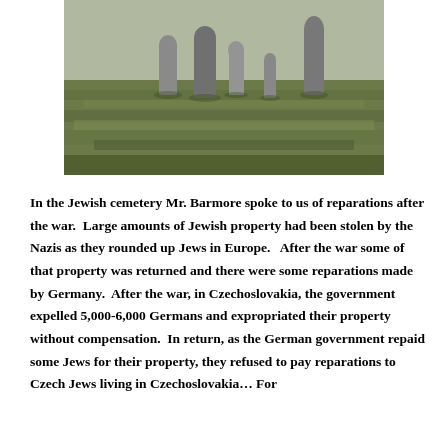[Figure (photo): A photograph of a Jewish cemetery showing old gravestones on a grassy hillside.]
In the Jewish cemetery Mr. Barmore spoke to us of reparations after the war.  Large amounts of Jewish property had been stolen by the Nazis as they rounded up Jews in Europe.   After the war some of that property was returned and there were some reparations made by Germany.  After the war, in Czechoslovakia, the government expelled 5,000-6,000 Germans and expropriated their property without compensation.  In return, as the German government repaid some Jews for their property, they refused to pay reparations to Czech Jews living in Czechoslovakia… For